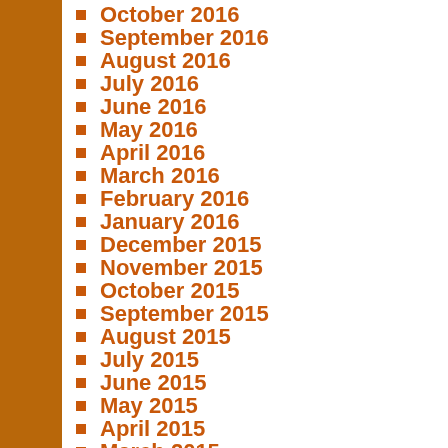October 2016
September 2016
August 2016
July 2016
June 2016
May 2016
April 2016
March 2016
February 2016
January 2016
December 2015
November 2015
October 2015
September 2015
August 2015
July 2015
June 2015
May 2015
April 2015
March 2015
February 2015
January 2015